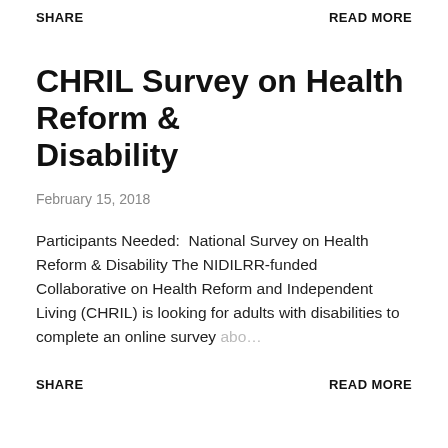SHARE    READ MORE
CHRIL Survey on Health Reform & Disability
February 15, 2018
Participants Needed:  National Survey on Health Reform & Disability The NIDILRR-funded Collaborative on Health Reform and Independent Living (CHRIL) is looking for adults with disabilities to complete an online survey abo…
SHARE    READ MORE